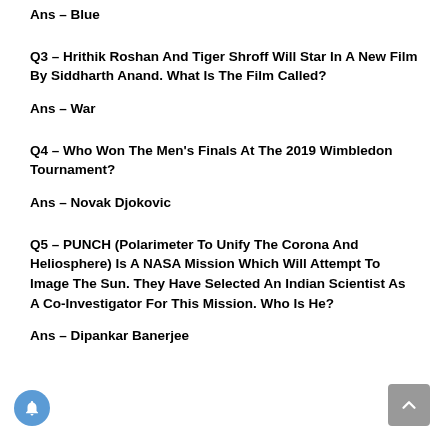Ans – Blue
Q3 – Hrithik Roshan And Tiger Shroff Will Star In A New Film By Siddharth Anand. What Is The Film Called?
Ans – War
Q4 – Who Won The Men's Finals At The 2019 Wimbledon Tournament?
Ans – Novak Djokovic
Q5 – PUNCH (Polarimeter To Unify The Corona And Heliosphere) Is A NASA Mission Which Will Attempt To Image The Sun. They Have Selected An Indian Scientist As A Co-Investigator For This Mission. Who Is He?
Ans – Dipankar Banerjee